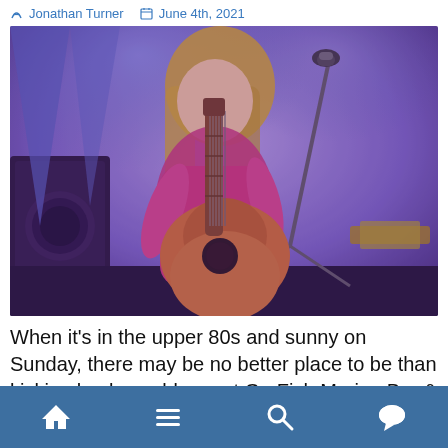✏ Jonathan Turner  🗓 June 4th, 2021
[Figure (photo): A blonde female musician playing an acoustic guitar and singing into a microphone on a purple/blue-lit stage.]
When it's in the upper 80s and sunny on Sunday, there may be no better place to be than kicking back a cold one at Go Fish Marina Bar & Grill, listening to the lovely Angela Meyer kick off a new local female
Navigation bar with home, menu, search, and comment icons